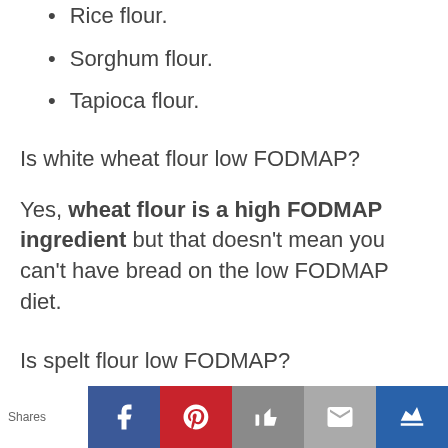Rice flour.
Sorghum flour.
Tapioca flour.
Is white wheat flour low FODMAP?
Yes, wheat flour is a high FODMAP ingredient but that doesn't mean you can't have bread on the low FODMAP diet.
Is spelt flour low FODMAP?
Our FODMAP analysis of spelt has revealed
Shares | Facebook | Pinterest | Like | Mail | Crown